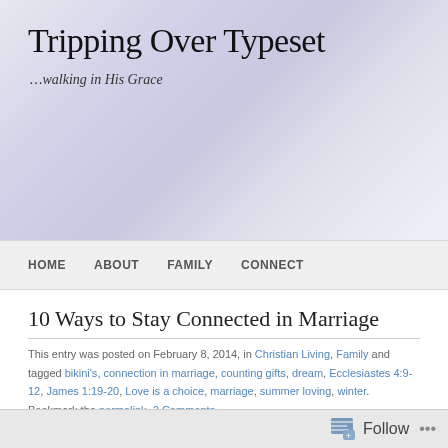[Figure (photo): Blurred purple/lavender background image with bokeh effect, forming the blog header background]
Tripping Over Typeset
…walking in His Grace
HOME   ABOUT   FAMILY   CONNECT
10 Ways to Stay Connected in Marriage
This entry was posted on February 8, 2014, in Christian Living, Family and tagged bikini's, connection in marriage, counting gifts, dream, Ecclesiastes 4:9-12, James 1:19-20, Love is a choice, marriage, summer loving, winter. Bookmark the permalink. 2 Comments
Another winter storm blew in this week.  We were snowed in and I was okay with that on the first day.  I wasn't feeling claustrophobic yet.  But give me a couple of days…even hours and I begin feeling itchy and I want out.  I want winter over.
Winter is work.  There's shoveling and plowing, scraping icy